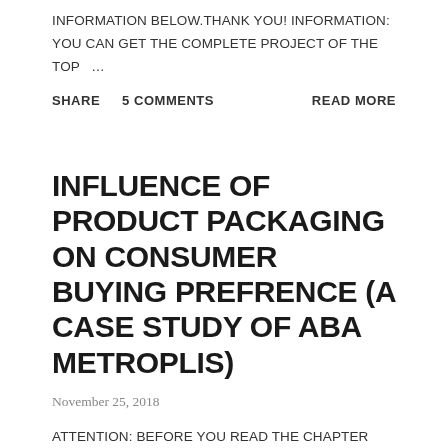INFORMATION BELOW.THANK YOU! INFORMATION: YOU CAN GET THE COMPLETE PROJECT OF THE TOP …
SHARE    5 COMMENTS    READ MORE
INFLUENCE OF PRODUCT PACKAGING ON CONSUMER BUYING PREFRENCE (A CASE STUDY OF ABA METROPLIS)
November 25, 2018
ATTENTION: BEFORE YOU READ THE CHAPTER ONE OF THE PROJECT TOPIC BELOW, PLEASE READ THE INFORMATION BELOW.THANK YOU! INFORMATION: YOU